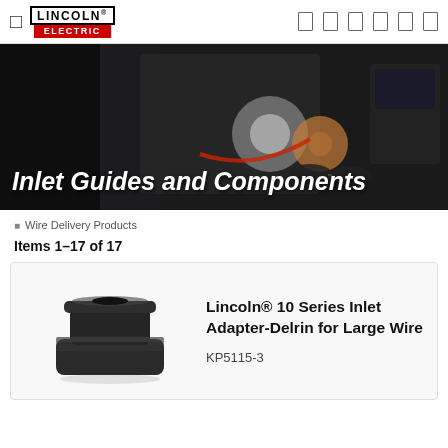Lincoln Electric
[Figure (photo): Hero banner showing welding equipment, wire spools, and safety glasses on a workbench with the text 'Inlet Guides and Components']
Inlet Guides and Components
Wire Delivery Products
Items 1-17 of 17
[Figure (photo): Black cylindrical plastic inlet adapter component - Lincoln 10 Series Inlet Adapter-Delrin for Large Wire]
Lincoln® 10 Series Inlet Adapter-Delrin for Large Wire
KP5115-3